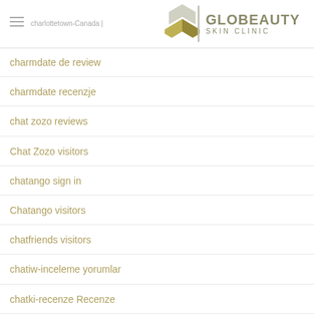charlottetown-Canada | Globeauty Skin Clinic
charmdate de review
charmdate recenzje
chat zozo reviews
Chat Zozo visitors
chatango sign in
Chatango visitors
chatfriends visitors
chatiw-inceleme yorumlar
chatki-recenze Recenze
Chatspin app
chatspin de review